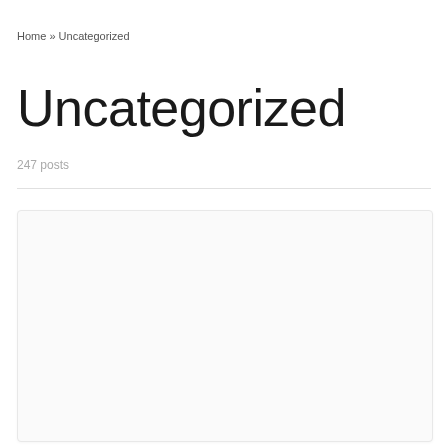Home » Uncategorized
Uncategorized
247 posts
[Figure (other): Empty card/article container with light gray background and border]